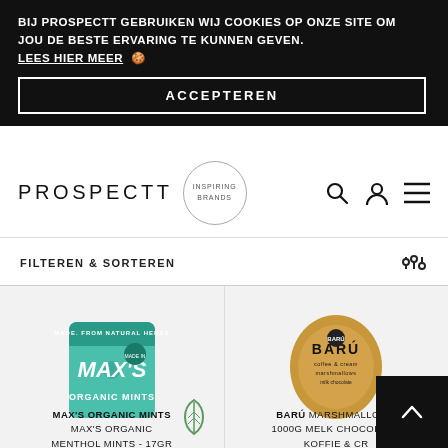BIJ PROSPECTT GEBRUIKEN WIJ COOKIES OP ONZE SITE OM JOU DE BESTE ERVARING TE KUNNEN GEVEN. LEES HIER MEER 🍪
ACCEPTEREN
[Figure (logo): PROSPECTT logo with INSPIRING BRANDS circle badge and navigation icons (search, user, menu)]
FILTEREN & SORTEREN
[Figure (photo): Max's Organic Mints product package - green mint-flavored candy bag with leaf icon]
[Figure (photo): Barú Marshmallows 1000G Melk Chocolade Koffie & Cr product - tan/golden pillow-shaped package with BARÚ logo]
MAX'S ORGANIC MINTS MAX'S ORGANIC MENTHOL MINTS - 17GR
BARÚ MARSHMALLOWS 1000G MELK CHOCOLADE KOFFIE & CR